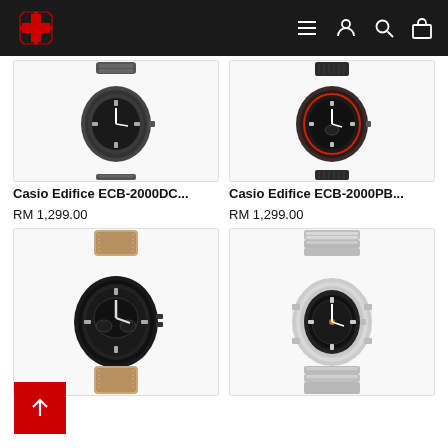Navigation header with logo and icons (menu, user, search, cart)
[Figure (photo): Casio Edifice ECB-2000DC watch with dark/gunmetal bracelet and black dial]
Casio Edifice ECB-2000DC...
RM 1,299.00
[Figure (photo): Casio Edifice ECB-2000PB watch with black fabric/nylon strap and dark dial with red accents]
Casio Edifice ECB-2000PB...
RM 1,299.00
[Figure (photo): Casio watch with black leather strap and large black dial, analog-digital]
[Figure (photo): Casio watch with silver stainless steel bracelet and dark dial with orange accent]